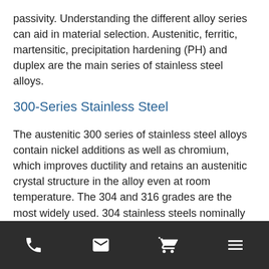passivity. Understanding the different alloy series can aid in material selection. Austenitic, ferritic, martensitic, precipitation hardening (PH) and duplex are the main series of stainless steel alloys.
300-Series Stainless Steel
The austenitic 300 series of stainless steel alloys contain nickel additions as well as chromium, which improves ductility and retains an austenitic crystal structure in the alloy even at room temperature. The 304 and 316 grades are the most widely used. 304 stainless steels nominally contain 18 percent chromium and 8 percent nickel. 316 stainless steels contain approximately 16 percent chromium, 10 percent nickel and 2 percent molybdenum. The molybdenum
phone | email | cart | menu